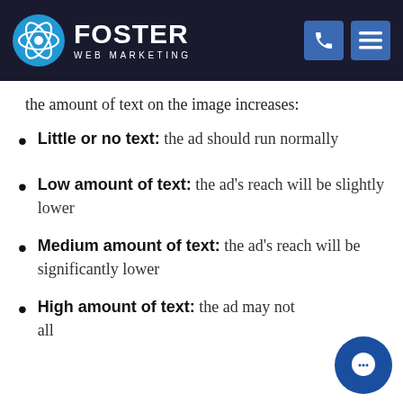Foster Web Marketing
the amount of text on the image increases:
Little or no text: the ad should run normally
Low amount of text: the ad's reach will be slightly lower
Medium amount of text: the ad's reach will be significantly lower
High amount of text: the ad may not all